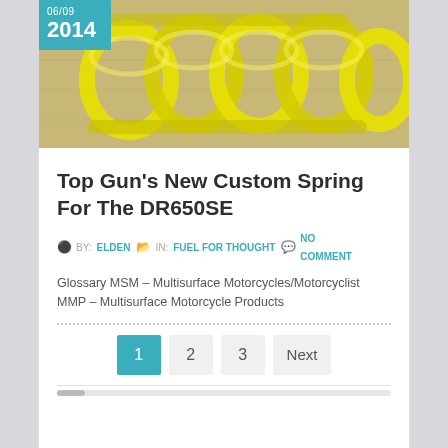[Figure (photo): Photograph of a yellow coil spring (motorcycle suspension spring) lying on a light background. A teal/cyan date badge in the top-left corner reads '06/09' and '2014'.]
Top Gun's New Custom Spring For The DR650SE
BY: ELDEN   IN: FUEL FOR THOUGHT   NO COMMENT
Glossary MSM – Multisurface Motorcycles/Motorcyclist MMP – Multisurface Motorcycle Products
1  2  3  Next